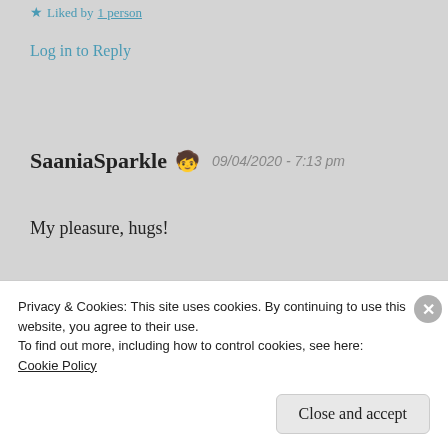★ Liked by 1 person
Log in to Reply
SaaniaSparkle 🧒 09/04/2020 - 7:13 pm
My pleasure, hugs!
★ Liked by 1 person
Privacy & Cookies: This site uses cookies. By continuing to use this website, you agree to their use.
To find out more, including how to control cookies, see here:
Cookie Policy
Close and accept